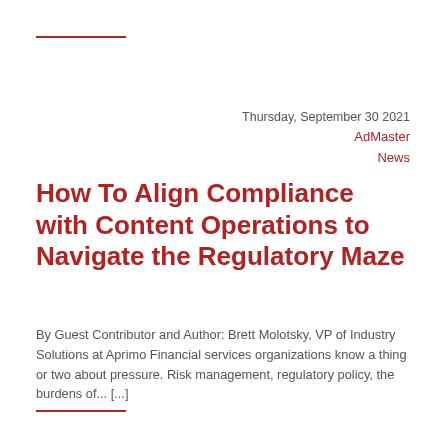Thursday, September 30 2021
AdMaster
News
How To Align Compliance with Content Operations to Navigate the Regulatory Maze
By Guest Contributor and Author: Brett Molotsky, VP of Industry Solutions at Aprimo Financial services organizations know a thing or two about pressure. Risk management, regulatory policy, the burdens of... [...]